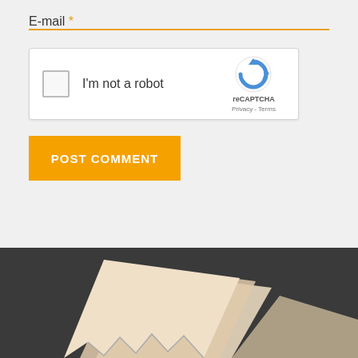E-mail *
[Figure (screenshot): reCAPTCHA widget with checkbox 'I'm not a robot' and reCAPTCHA logo with Privacy - Terms links]
POST COMMENT
[Figure (illustration): Dark gray footer area with partial illustration of papers/documents at bottom]